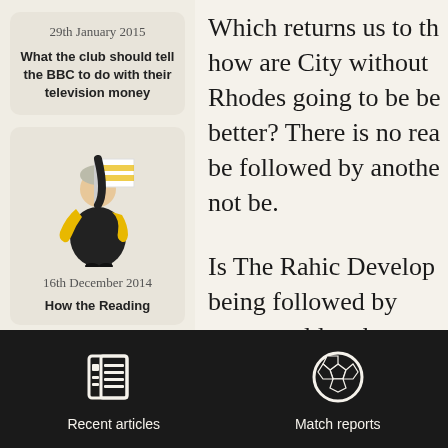29th January 2015
What the club should tell the BBC to do with their television money
[Figure (illustration): Illustration of a person in black outfit with yellow and white scarf holding up a flag or banner]
16th December 2014
How the Reading
Which returns us to th how are City without Rhodes going to be be better? There is no rea be followed by anothe not be.
Is The Rahic Develop being followed by ever would make more sens to find a promising te
Recent articles   Match reports